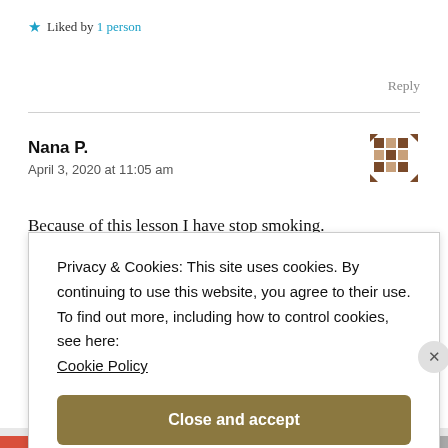★ Liked by 1 person
Reply
Nana P.
April 3, 2020 at 11:05 am
Because of this lesson I have stop smoking.
Privacy & Cookies: This site uses cookies. By continuing to use this website, you agree to their use.
To find out more, including how to control cookies, see here:
Cookie Policy
Close and accept